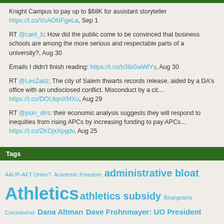Knight Campus to pay up to $68K for assistant storyteller https://t.co/VuAONFgeLa, Sep 1
RT @cant_b: How did the public come to be convinced that business schools are among the more serious and respectable parts of a university?, Aug 30
Emails I didn't finish reading: https://t.co/b3ibGwWlYy, Aug 30
RT @LesZaitz: The city of Salem thwarts records release, aided by a DA's office with an undisclosed conflict. Misconduct by a cit... https://t.co/DOUtqnXMXu, Aug 29
RT @json_dirs: their economic analysis suggests they will respond to inequities from rising APCs by increasing funding to pay APCs... https://t.co/ZKOjxXpgdv, Aug 25
Tags
AAUP-AFT Union? Academic Freedom administrative bloat Athletics athletics subsidy Beangrams Coronavirus Dana Altman Dave Frohnmayer: UO President Diversity Faculty pay Faculty Union (United Academics of UO) free speech Jamie Moffitt Jim Bean: UO Provost Jim O'Fallon jock box Lariviere Firing Lorraine Davis March 8-9 rape allegations Melinda Grier Michael Gottfredson NCAA NCAA violations new partnership plan off topic OUS Board and Chancellor Bernsteiner PERS Public Records Public Safety